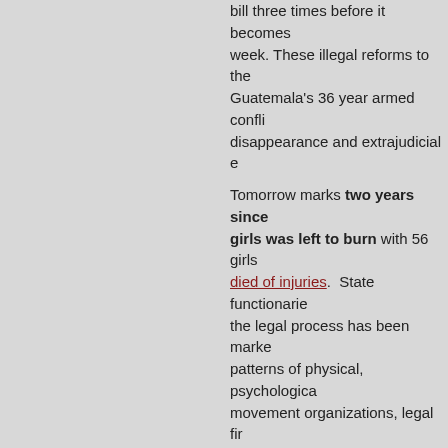bill three times before it becomes week. These illegal reforms to the Guatemala's 36 year armed confli disappearance and extrajudicial e
Tomorrow marks two years since girls was left to burn with 56 girls died of injuries. State functionarie the legal process has been marke patterns of physical, psychological movement organizations, legal fir and their families.
2/26/2019  Call Congress Now!
End the wrongful incarceration
On Saturday, February 23, twelve legitimate defense of the drinking demanded that the Municipal Gov protected area have been the targ imprisonment.